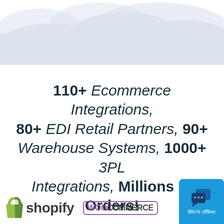[Figure (illustration): Light blue/lavender cloud shapes decorating the top background of the page]
110+ Ecommerce Integrations, 80+ EDI Retail Partners, 90+ Warehouse Systems, 1000+ 3PL Integrations, Millions of Orders!
[Figure (logo): Shopify logo with green shopping bag icon and 'shopify' text]
[Figure (logo): WooCommerce logo with purple 'WOO' in bordered box and 'COMMERCE' in dark text]
[Figure (illustration): Blue chat widget in bottom right corner with chat bubble icon and 'We're offline' text]